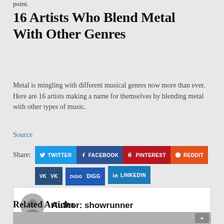point.
16 Artists Who Blend Metal With Other Genres
Metal is mingling with different musical genres now more than ever. Here are 16 artists making a name for themselves by blending metal with other types of music.
Source
Share: TWITTER FACEBOOK PINTEREST REDDIT VK DIGG LINKEDIN
Author: showrunner
Related Articles